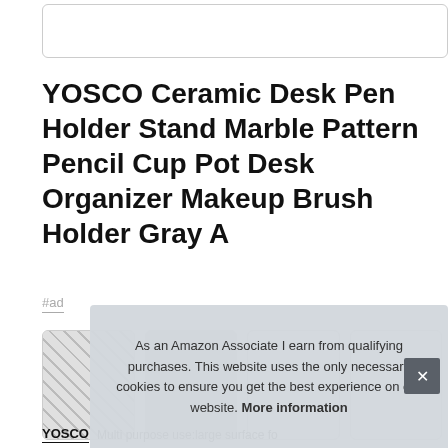[Figure (other): Top placeholder box (search bar or image container)]
YOSCO Ceramic Desk Pen Holder Stand Marble Pattern Pencil Cup Pot Desk Organizer Makeup Brush Holder Gray A
#ad
[Figure (photo): Row of four product thumbnail images showing the YOSCO pen holder from various angles]
YOSCO   Multi purpose use:large surface fo
As an Amazon Associate I earn from qualifying purchases. This website uses the only necessary cookies to ensure you get the best experience on our website. More information